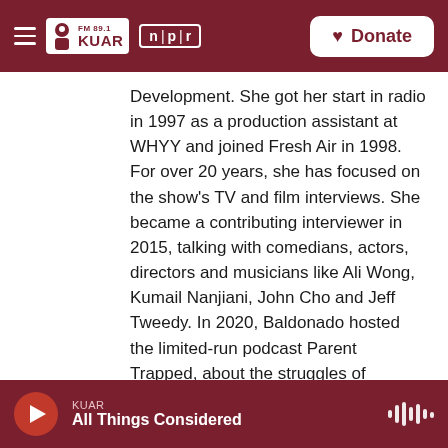FM 89.1 KUAR | NPR | Donate
Development. She got her start in radio in 1997 as a production assistant at WHYY and joined Fresh Air in 1998. For over 20 years, she has focused on the show's TV and film interviews. She became a contributing interviewer in 2015, talking with comedians, actors, directors and musicians like Ali Wong, Kumail Nanjiani, John Cho and Jeff Tweedy. In 2020, Baldonado hosted the limited-run podcast Parent Trapped, about the struggles of parenting during the pandemic. She talked to Julie Andrews about encouraging creativity in your kids, and comedian W. Kamau Bell about what to watch with them.
KUAR — All Things Considered